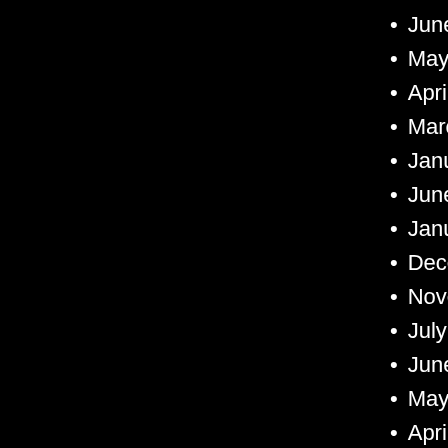June 2013
May 2013
April 2013
March 2013
January 20…
June 2012
January 20…
December 2…
November 2…
July 2011
June 2011
May 2011
April 2011
March 2011
February 20…
December 2…
November 2…
October 201…
September…